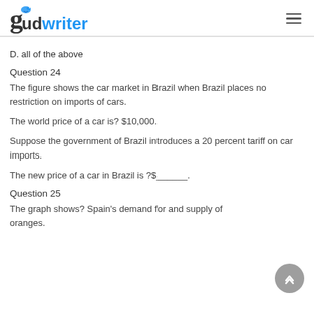gudwriter
D. all of the above
Question 24
The figure shows the car market in Brazil when Brazil places no restriction on imports of cars.
The world price of a car is? $10,000.
Suppose the government of Brazil introduces a 20 percent tariff on car imports.
The new price of a car in Brazil is ?$______.
Question 25
The graph shows? Spain's demand for and supply of oranges.